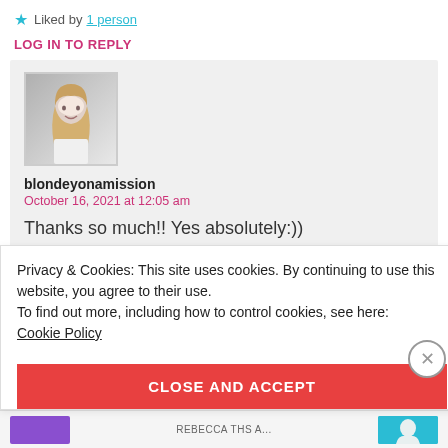★ Liked by 1 person
LOG IN TO REPLY
[Figure (photo): Avatar photo of blondeyonamission, a woman with long blonde hair wearing a white top]
blondeyonamission
October 16, 2021 at 12:05 am
Thanks so much!! Yes absolutely:))
Privacy & Cookies: This site uses cookies. By continuing to use this website, you agree to their use.
To find out more, including how to control cookies, see here:
Cookie Policy
CLOSE AND ACCEPT